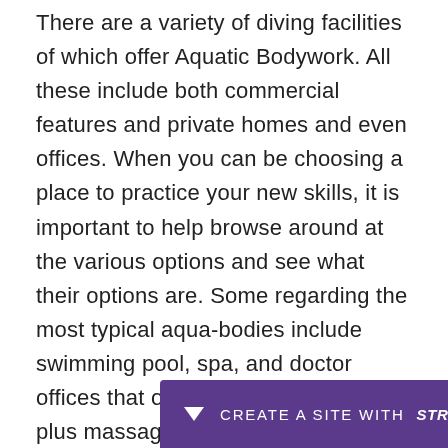There are a variety of diving facilities of which offer Aquatic Bodywork. All these include both commercial features and private homes and even offices. When you can be choosing a place to practice your new skills, it is important to help browse around at the various options and see what their options are. Some regarding the most typical aqua-bodies include swimming pool, spa, and doctor offices that offer entire body exercise, plus massage therapy.
In advance of you choose on where to get to acco... rese...
[Figure (other): Purple banner overlay at the bottom of the page reading 'CREATE A SITE WITH strikingly' with a downward arrow icon on the left side.]